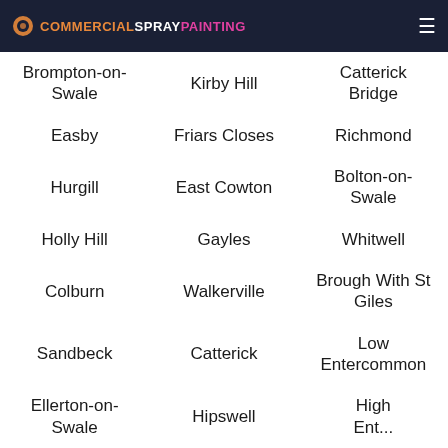COMMERCIALSPRAYPAINTING
Brompton-on-Swale
Kirby Hill
Catterick Bridge
Easby
Friars Closes
Richmond
Hurgill
East Cowton
Bolton-on-Swale
Holly Hill
Gayles
Whitwell
Colburn
Walkerville
Brough With St Giles
Sandbeck
Catterick
Low Entercommon
Ellerton-on-Swale
Hipswell
High...